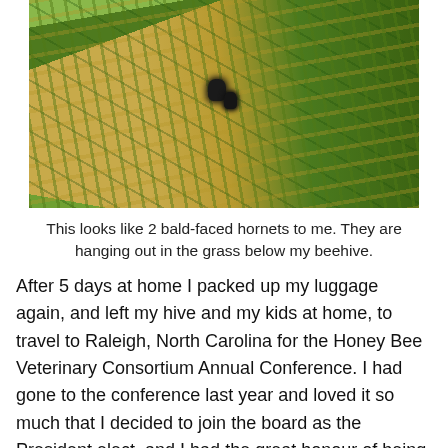[Figure (photo): Close-up photo of grass and straw with two dark bald-faced hornets visible among green and yellow grass blades below a beehive.]
This looks like 2 bald-faced hornets to me. They are hanging out in the grass below my beehive.
After 5 days at home I packed up my luggage again, and left my hive and my kids at home, to travel to Raleigh, North Carolina for the Honey Bee Veterinary Consortium Annual Conference. I had gone to the conference last year and loved it so much that I decided to join the board as the President elect, and I had the great honour of being the conference chair this year. It was many months of coming up with lecture topics, arranging